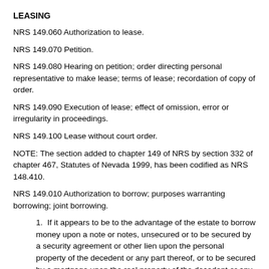LEASING
NRS 149.060 Authorization to lease.
NRS 149.070 Petition.
NRS 149.080 Hearing on petition; order directing personal representative to make lease; terms of lease; recordation of copy of order.
NRS 149.090 Execution of lease; effect of omission, error or irregularity in proceedings.
NRS 149.100 Lease without court order.
NOTE: The section added to chapter 149 of NRS by section 332 of chapter 467, Statutes of Nevada 1999, has been codified as NRS 148.410.
NRS 149.010 Authorization to borrow; purposes warranting borrowing; joint borrowing.
1. If it appears to be to the advantage of the estate to borrow money upon a note or notes, unsecured or to be secured by a security agreement or other lien upon the personal property of the decedent or any part thereof, or to be secured by a mortgage upon the real property of the decedent or any part thereof, or to mortgage or create a security interest or other lien upon the property or any part thereof, in order to pay the debts of the decedent, or devises, or expenses or charges of administration, or to pay, reduce, extend or renew a security interest or agreement or lien or mortgage existing upon property of the estate, and as often as occasion arises in the administration of the estate, the court may direct the personal representative to